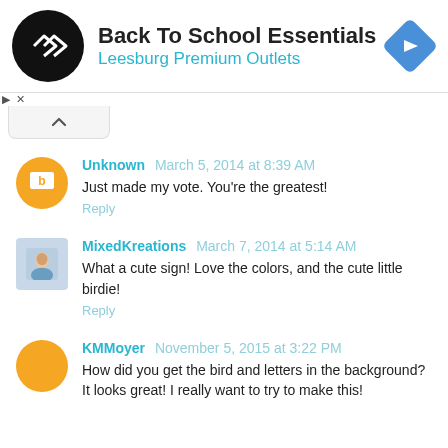[Figure (screenshot): Ad banner: Back To School Essentials at Leesburg Premium Outlets with logo and navigation icon]
Unknown March 5, 2014 at 8:39 AM
Just made my vote. You're the greatest!
Reply
MixedKreations March 7, 2014 at 5:14 AM
What a cute sign! Love the colors, and the cute little birdie!
Reply
KMMoyer November 5, 2015 at 3:22 PM
How did you get the bird and letters in the background? It looks great! I really want to try to make this!